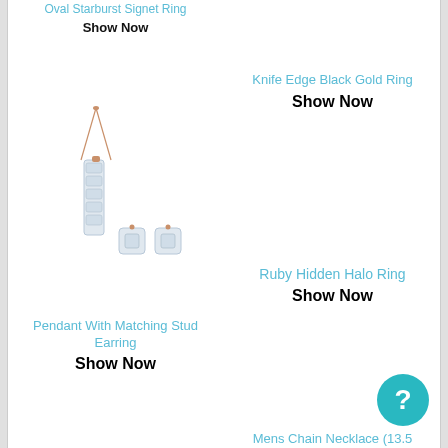Oval Starburst Signet Ring
Show Now
[Figure (photo): Pendant necklace with rose gold chain and diamond bar pendant, with matching square diamond stud earrings]
Knife Edge Black Gold Ring
Show Now
Ruby Hidden Halo Ring
Show Now
Pendant With Matching Stud Earring
Show Now
Mens Chain Necklace (13.5